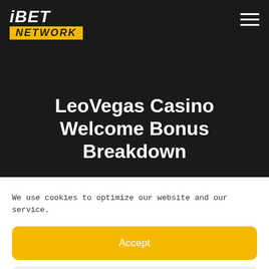iBET NETWORK
LeoVegas Casino Welcome Bonus Breakdown
We use cookies to optimize our website and our service.
Accept
Dismiss
Preferences